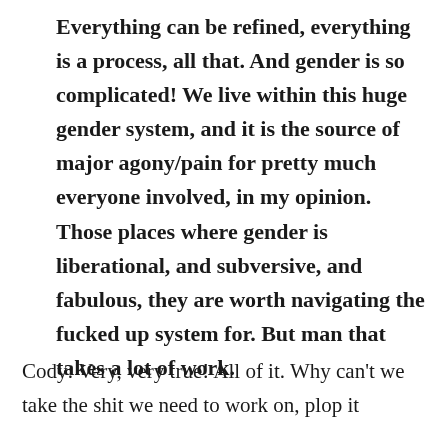Everything can be refined, everything is a process, all that. And gender is so complicated! We live within this huge gender system, and it is the source of major agony/pain for pretty much everyone involved, in my opinion. Those places where gender is liberational, and subversive, and fabulous, they are worth navigating the fucked up system for. But man that takes a lot of work.
Cody: Very, very true! All of it. Why can't we take the shit we need to work on, plop it